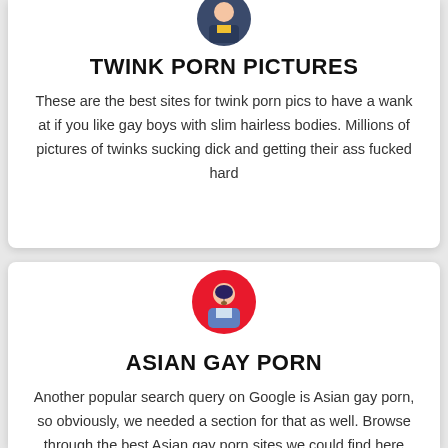[Figure (illustration): Circular avatar icon of a person in dark uniform with yellow accent, partially cropped at top]
TWINK PORN PICTURES
These are the best sites for twink porn pics to have a wank at if you like gay boys with slim hairless bodies. Millions of pictures of twinks sucking dick and getting their ass fucked hard
[Figure (illustration): Circular avatar icon of an Asian man with mustache in traditional blue robe on red background]
ASIAN GAY PORN
Another popular search query on Google is Asian gay porn, so obviously, we needed a section for that as well. Browse through the best Asian gay porn sites we could find here